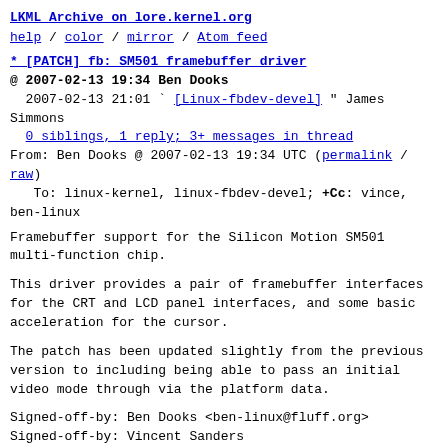LKML Archive on lore.kernel.org
help / color / mirror / Atom feed
* [PATCH] fb: SM501 framebuffer driver
@ 2007-02-13 19:34 Ben Dooks
  2007-02-13 21:01 ` [Linux-fbdev-devel] " James Simmons
  0 siblings, 1 reply; 3+ messages in thread
From: Ben Dooks @ 2007-02-13 19:34 UTC (permalink / raw)
   To: linux-kernel, linux-fbdev-devel; +Cc: vince, ben-linux
Framebuffer support for the Silicon Motion SM501 multi-function chip.
This driver provides a pair of framebuffer interfaces for the CRT and LCD panel interfaces, and some basic acceleration for the cursor.
The patch has been updated slightly from the previous version to including being able to pass an initial video mode through via the platform data.
Signed-off-by: Ben Dooks <ben-linux@fluff.org>
Signed-off-by: Vincent Sanders <vince@arm.linux.org.uk>
diff -urpN -X ../dontdiff linux-2.6.20/drivers/video/Kconfig linux-2.6.20-sm501-2/drivers/video/Kconfig